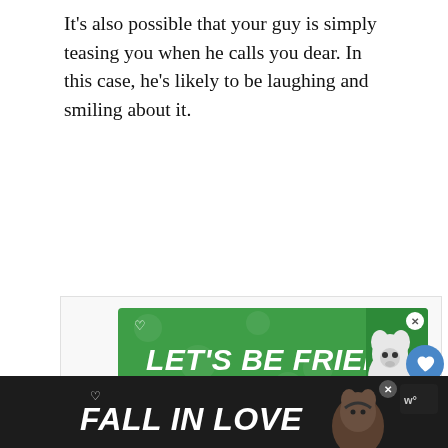It's also possible that your guy is simply teasing you when he calls you dear. In this case, he's likely to be laughing and smiling about it.
[Figure (screenshot): Green advertisement banner reading 'LET'S BE FRIENDS' with a husky dog image on the right side and a small heart icon on the upper left. An X close button appears in the top right corner.]
[Figure (screenshot): Dark/black advertisement banner at the bottom reading 'FALL IN LOVE' with a dog image on the right and a music streaming app logo (Tidal) in the upper right.]